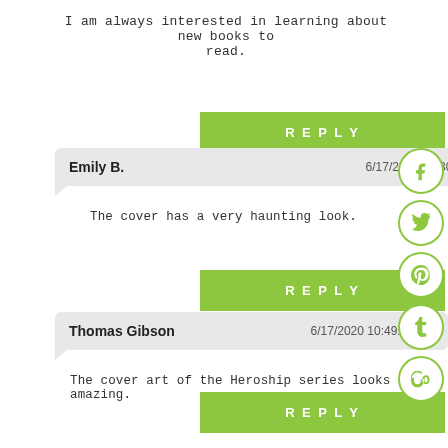I am always interested in learning about new books to read.
REPLY
Emily B.  6/17/2020 09:30:16 am
The cover has a very haunting look.
REPLY
Thomas Gibson  6/17/2020 10:49:45 am
The cover art of the Heroship series looks amazing.
REPLY